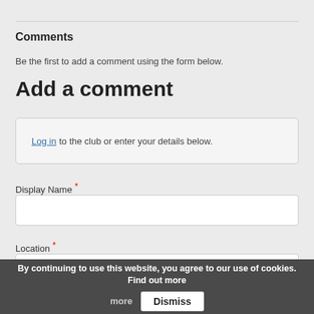Comments
Be the first to add a comment using the form below.
Add a comment
Log in to the club or enter your details below.
Display Name *
Location *
By continuing to use this website, you agree to our use of cookies. Find out more   Dismiss